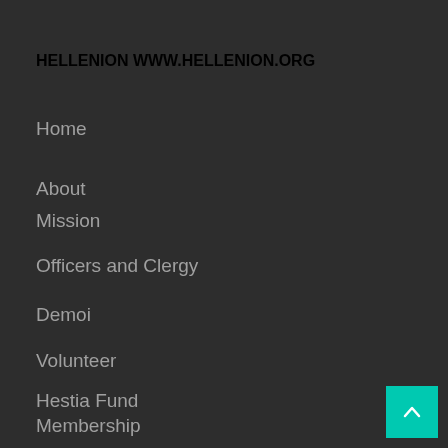HELLENION WWW.HELLENION.ORG
Home
About
Mission
Officers and Clergy
Demoi
Volunteer
Hestia Fund
Membership
Join
[Figure (other): Scroll-to-top button with upward chevron arrow on teal/cyan background]